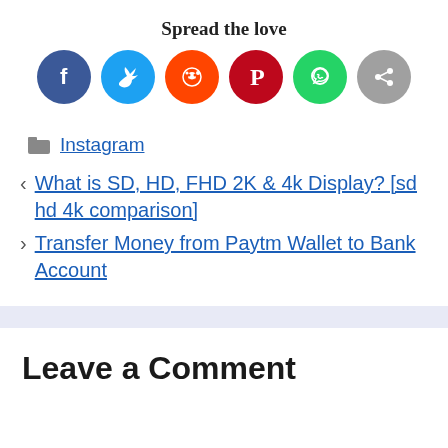Spread the love
[Figure (infographic): Six social media share buttons in colored circles: Facebook (dark blue), Twitter (light blue), Reddit (orange-red), Pinterest (dark red), WhatsApp (green), Share (orange-gray)]
Instagram
What is SD, HD, FHD 2K & 4k Display? [sd hd 4k comparison]
Transfer Money from Paytm Wallet to Bank Account
Leave a Comment